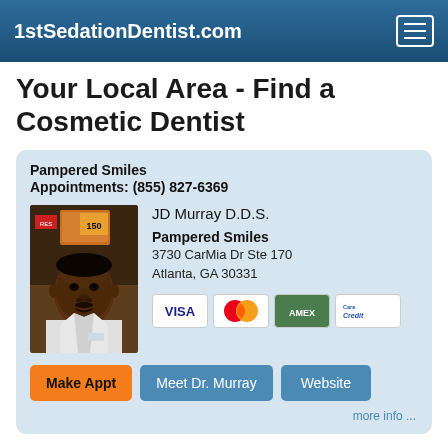1stSedationDentist.com
Your Local Area - Find a Cosmetic Dentist
Pampered Smiles
Appointments: (855) 827-6369
[Figure (photo): Headshot photo of JD Murray D.D.S. in a white coat]
JD Murray D.D.S.
Pampered Smiles
3730 CarMia Dr Ste 170
Atlanta, GA 30331
[Figure (infographic): Payment method icons: Visa, MasterCard, American Express, CareCredit]
Make Appt  Meet Dr. Murray  Website
more info ...